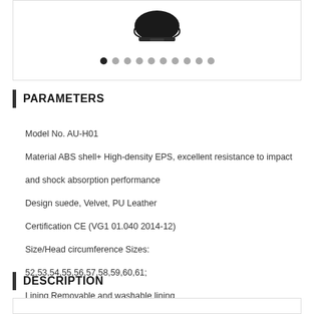[Figure (photo): Product image of a horse riding helmet with carousel navigation dots below showing 10 dots, first dot active (black)]
PARAMETERS
Model No. AU-H01
Material ABS shell+ High-density EPS, excellent resistance to impact and shock absorption performance
Design suede, Velvet,  PU Leather
Certification CE (VG1 01.040 2014-12)
Size/Head circumference Sizes:
52,53,54,55,56,57,58,59,60,61;
Lining Removable and washable lining
Color PANTONE
DESCRIPTION